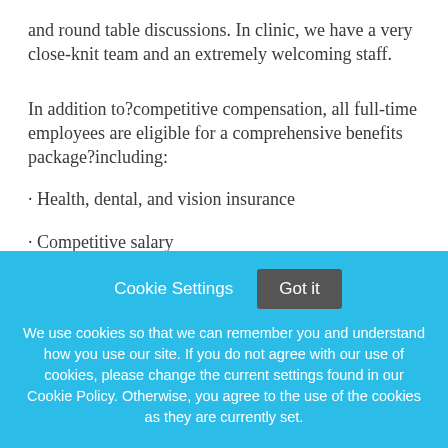and round table discussions. In clinic, we have a very close-knit team and an extremely welcoming staff.
In addition to?competitive compensation, all full-time employees are eligible for a comprehensive benefits package?including:
· Health, dental, and vision insurance
· Competitive salary
Cookie Settings  Got it
We use cookies so that we can remember you and understand how you use our site. If you do not agree with our use of cookies, please change the current settings found in our Cookie Policy. Otherwise, you agree to the use of the cookies as they are currently set.